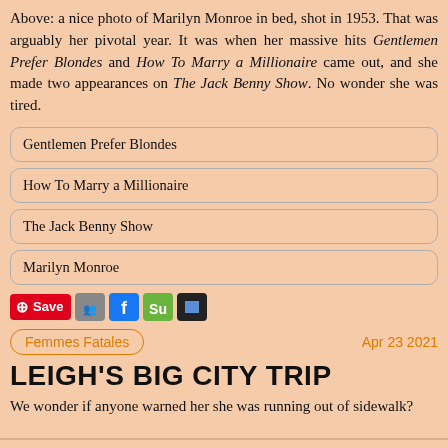Above: a nice photo of Marilyn Monroe in bed, shot in 1953. That was arguably her pivotal year. It was when her massive hits Gentlemen Prefer Blondes and How To Marry a Millionaire came out, and she made two appearances on The Jack Benny Show. No wonder she was tired.
Gentlemen Prefer Blondes
How To Marry a Millionaire
The Jack Benny Show
Marilyn Monroe
Femmes Fatales    Apr 23 2021
LEIGH'S BIG CITY TRIP
We wonder if anyone warned her she was running out of sidewalk?